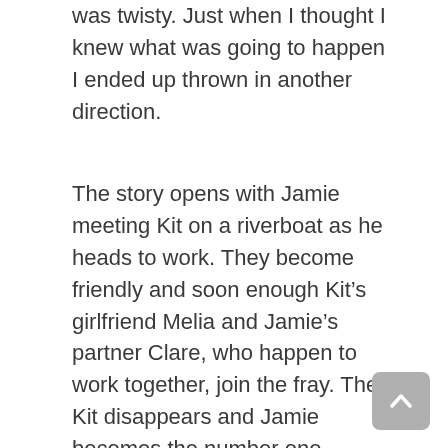was twisty. Just when I thought I knew what was going to happen I ended up thrown in another direction.
The story opens with Jamie meeting Kit on a riverboat as he heads to work. They become friendly and soon enough Kit's girlfriend Melia and Jamie's partner Clare, who happen to work together, join the fray. Then Kit disappears and Jamie becomes the number one suspect as they had been seen arguing. As the situation unfolds we learn that we can't believe anyone in this story. The web of lies and deceit mounts with each page. Is anyone in this story innocent? Or are they all lying backstabbers?